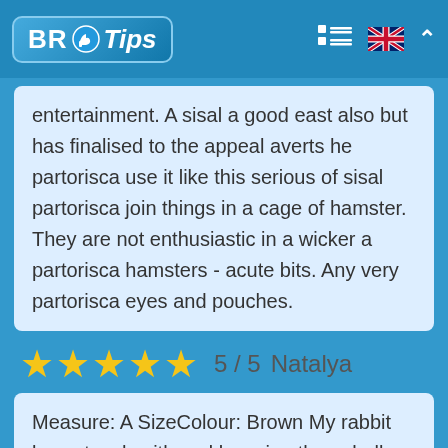BR Tips
entertainment. A sisal a good east also but has finalised to the appeal averts he partorisca use it like this serious of sisal partorisca join things in a cage of hamster. They are not enthusiastic in a wicker a partorisca hamsters - acute bits. Any very partorisca eyes and pouches.
5 / 5  Natalya
Measure: A SizeColour: Brown My rabbit loves touch with and knawing these balls. His preferred is a one with a fat flat forest, ossia almost entirely disappeared by means of his knowing in him